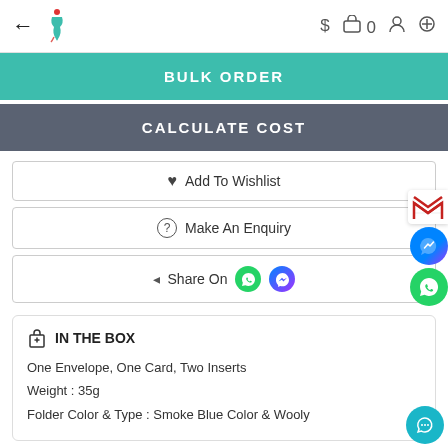← [logo] $ 🛍 0 👤 🔍
BULK ORDER
CALCULATE COST
♥ Add To Wishlist
? Make An Enquiry
< Share On [WhatsApp] [Messenger]
🎁 IN THE BOX
One Envelope, One Card, Two Inserts
Weight : 35g
Folder Color & Type : Smoke Blue Color & Wooly